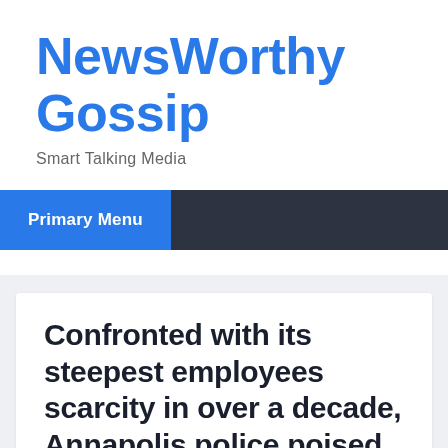NewsWorthy Gossip
Smart Talking Media
Primary Menu
Confronted with its steepest employees scarcity in over a decade, Annapolis police poised to obtain extra